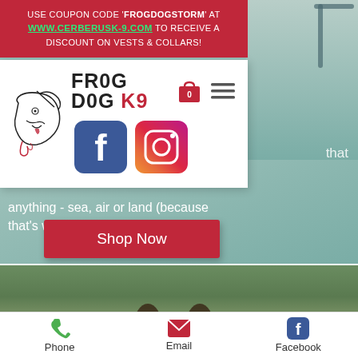USE COUPON CODE 'FROGDOGSTORM' AT WWW.CERBERUSK-9.COM TO RECEIVE A DISCOUNT ON VESTS & COLLARS!
[Figure (screenshot): Frog Dog K9 website navigation popup with dog logo, brand name 'FROG DOG K9', shopping bag icon, hamburger menu, Facebook and Instagram social media icons]
anything - sea, air or land (because that's what we do).
Shop Now
[Figure (photo): Partial photo of a dog outdoors on green background]
Phone
Email
Facebook